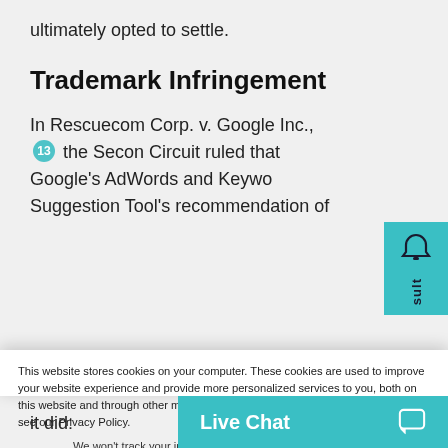ultimately opted to settle.
Trademark Infringement
In Rescuecom Corp. v. Google Inc., [13] the Second Circuit ruled that Google’s AdWords and Keyword Suggestion Tool’s recommendation of
This website stores cookies on your computer. These cookies are used to improve your website experience and provide more personalized services to you, both on this website and through other media. To find out more about the cookies we use, see our Privacy Policy.
We won’t track your information when you visit our site. But in order to comply with your preferences, we’ll have to use just one tiny cookie so that you’re not asked to make this choice again.
Accept
Decline
it did:
Live Chat